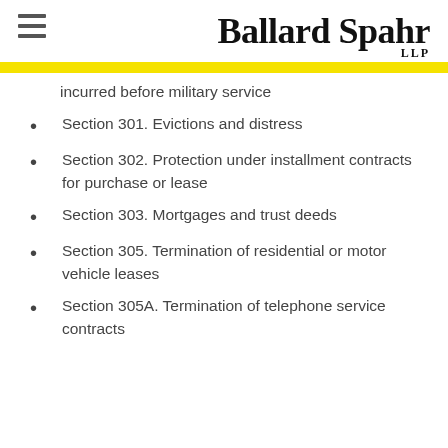Ballard Spahr LLP
incurred before military service
Section 301. Evictions and distress
Section 302. Protection under installment contracts for purchase or lease
Section 303. Mortgages and trust deeds
Section 305. Termination of residential or motor vehicle leases
Section 305A. Termination of telephone service contracts